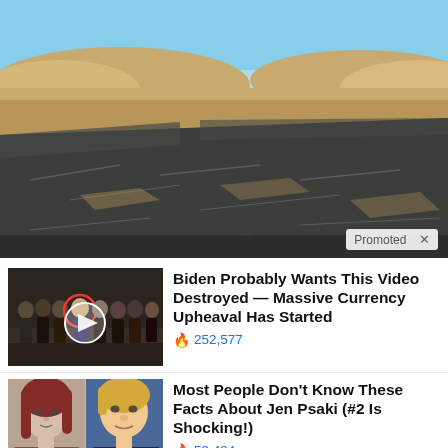[Figure (photo): Desert landscape with dark flat rocks in the foreground and sandy dunes in the background under a blue sky. 'Promoted X' badge in bottom-right corner.]
[Figure (photo): Thumbnail showing a group of people standing in formal attire with one circled in red, and a video play button overlay.]
Biden Probably Wants This Video Destroyed — Massive Currency Upheaval Has Started
252,577
[Figure (photo): Thumbnail showing two people side by side: a woman with red hair (Jen Psaki) on the left and a man (Donald Trump) on the right.]
Most People Don't Know These Facts About Jen Psaki (#2 Is Shocking!)
53,434